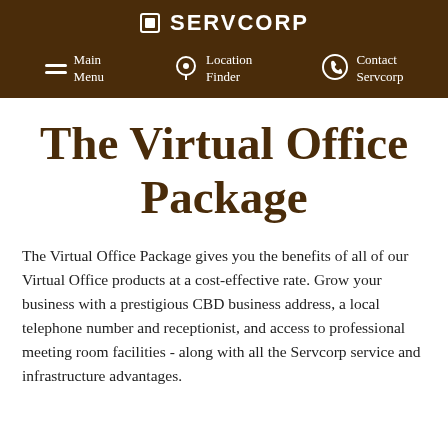SERVCORP
Main Menu | Location Finder | Contact Servcorp
The Virtual Office Package
The Virtual Office Package gives you the benefits of all of our Virtual Office products at a cost-effective rate. Grow your business with a prestigious CBD business address, a local telephone number and receptionist, and access to professional meeting room facilities - along with all the Servcorp service and infrastructure advantages.